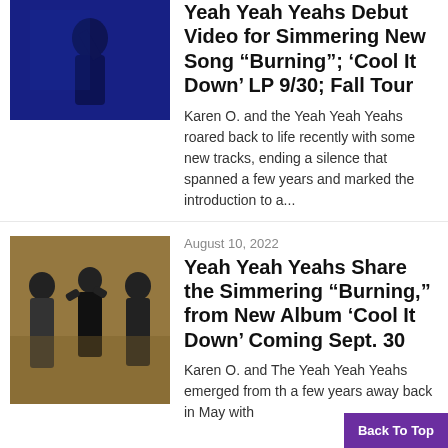[Figure (photo): Blue-tinted photo of person]
Yeah Yeah Yeahs Debut Video for Simmering New Song “Burning”; ‘Cool It Down’ LP 9/30; Fall Tour
Karen O. and the Yeah Yeah Yeahs roared back to life recently with some new tracks, ending a silence that spanned a few years and marked the introduction to a...
[Figure (photo): Band photo of Yeah Yeah Yeahs three members standing]
August 10, 2022
Yeah Yeah Yeahs Share the Simmering “Burning,” from New Album ‘Cool It Down’ Coming Sept. 30
Karen O. and The Yeah Yeah Yeahs emerged from th... a few years away back in May with